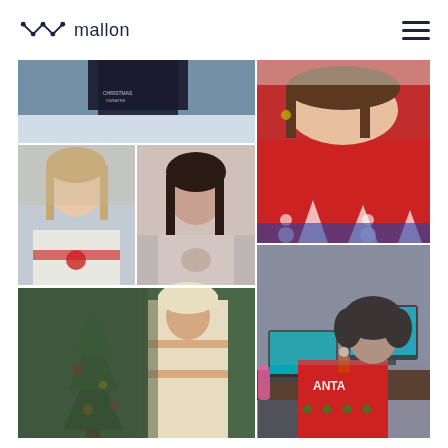mallon
[Figure (photo): Collage of six photos showing people wearing Christmas/ugly Christmas sweaters. Top-left: person in dark Christmas sweater outdoors in snow. Middle-left-top: woman in white Christmas sweater selfie. Middle-left-bottom: young woman in light pink sweater with reindeer design. Bottom-left: person in cream Fair Isle sweater standing next to a decorated Christmas tree. Right-top: woman in red Christmas sweater showing chunky knit design. Right-bottom: woman in red Santa sweater and Christmas pajama pants sitting at a desk with laptop and monitors.]